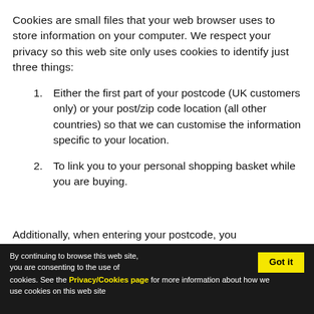Cookies are small files that your web browser uses to store information on your computer. We respect your privacy so this web site only uses cookies to identify just three things:
Either the first part of your postcode (UK customers only) or your post/zip code location (all other countries) so that we can customise the information specific to your location.
To link you to your personal shopping basket while you are buying.
Additionally, when entering your postcode, you
By continuing to browse this web site, you are consenting to the use of cookies. See the Privacy/Cookies page for more information about how we use cookies on this web site